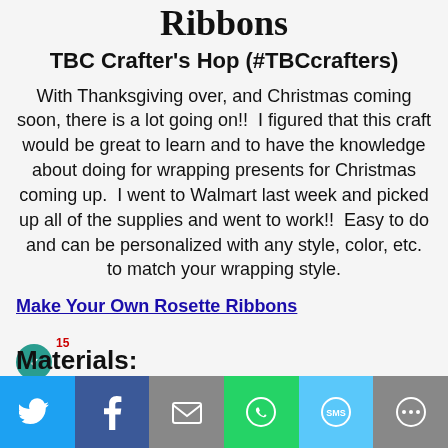Ribbons
TBC Crafter's Hop (#TBCcrafters)
With Thanksgiving over, and Christmas coming soon, there is a lot going on!!  I figured that this craft would be great to learn and to have the knowledge about doing for wrapping presents for Christmas coming up.  I went to Walmart last week and picked up all of the supplies and went to work!!  Easy to do and can be personalized with any style, color, etc. to match your wrapping style.
Make Your Own Rosette Ribbons
Materials:
[Figure (infographic): Social sharing bar with Twitter, Facebook, Email, WhatsApp, SMS, and More buttons at the bottom of the page]